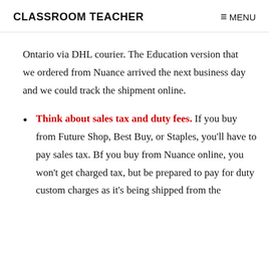CLASSROOM TEACHER    ≡ MENU
Ontario via DHL courier. The Education version that we ordered from Nuance arrived the next business day and we could track the shipment online.
Think about sales tax and duty fees. If you buy from Future Shop, Best Buy, or Staples, you'll have to pay sales tax. Bf you buy from Nuance online, you won't get charged tax, but be prepared to pay for duty custom charges as it's being shipped from the